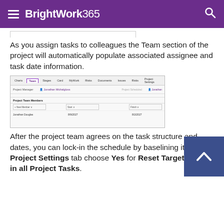BrightWork365
[Figure (screenshot): BrightWork365 project Team tab screenshot showing Project Manager field assigned to Jonathan Michalgloss with Project Team Members section listing Jonathan Douglas with dates 8/9/2027 and 8/2/2027]
As you assign tasks to colleagues the Team section of the project will automatically populate associated assignee and task date information.
After the project team agrees on the task structure and dates, you can lock-in the schedule by baselining it - in the Project Settings tab choose Yes for Reset Target Dates in all Project Tasks.